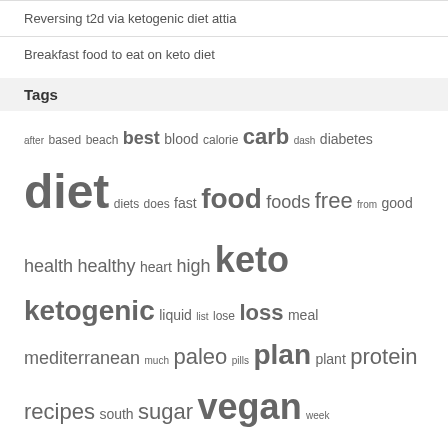Reversing t2d via ketogenic diet attia
Breakfast food to eat on keto diet
Tags
after based beach best blood calorie carb dash diabetes diet diets does fast food foods free from good health healthy heart high keto ketogenic liquid list lose loss meal mediterranean much paleo pills plan plant protein recipes south sugar vegan week weight what with your
Copyright 2020
Iconic One Theme | Powered by Wordpress